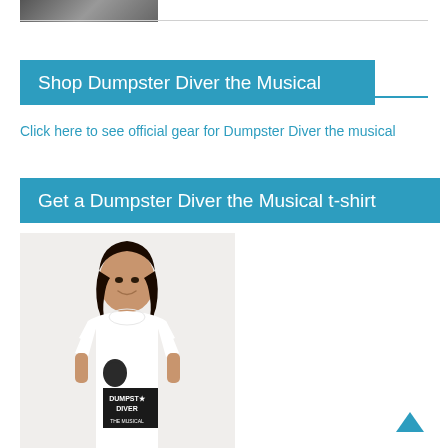[Figure (photo): Partial photo at top of page, cropped]
Shop Dumpster Diver the Musical
Click here to see official gear for Dumpster Diver the musical
Get a Dumpster Diver the Musical t-shirt
[Figure (photo): Woman wearing a white Dumpster Diver the Musical t-shirt with logo graphic]